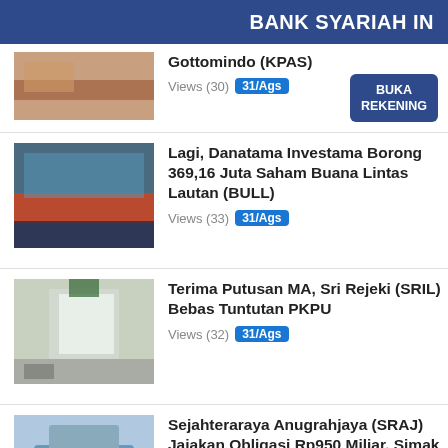BANK SYARIAH IN
Gottomindo (KPAS) Views (30) 31/Ags
Lagi, Danatama Investama Borong 369,16 Juta Saham Buana Lintas Lautan (BULL) Views (33) 31/Ags
Terima Putusan MA, Sri Rejeki (SRIL) Bebas Tuntutan PKPU Views (32) 31/Ags
Sejahteraraya Anugrahjaya (SRAJ) Jajakan Obligasi Rp950 Miliar, Simak Alokasi Detailnya Views (35) 31/Ags
Kinerja Membaik, Karya Bersama (KPAS) Uludi Registrasi...